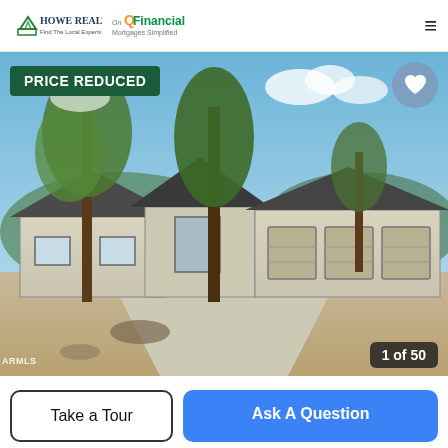Howe Realty | On Q Financial Mortgages Simplified
[Figure (photo): Exterior photo of a single-story ranch-style home with a 3-car garage, surrounded by tall pine trees, with a gravel driveway and blue sky in the background. Badge overlay: 'PRICE REDUCED'. Counter overlay: '1 of 50'. MLS watermark bottom-left.]
Take a Tour
Ask A Question